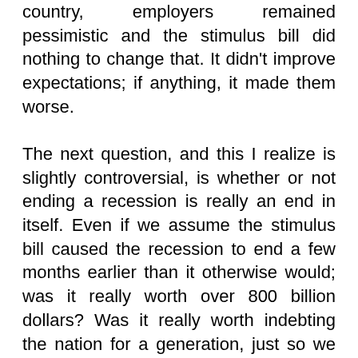country, employers remained pessimistic and the stimulus bill did nothing to change that. It didn't improve expectations; if anything, it made them worse.
The next question, and this I realize is slightly controversial, is whether or not ending a recession is really an end in itself. Even if we assume the stimulus bill caused the recession to end a few months earlier than it otherwise would; was it really worth over 800 billion dollars? Was it really worth indebting the nation for a generation, just so we could get out of recession a little earlier? Did we really get a good return on investment? Considering that the US national debt has